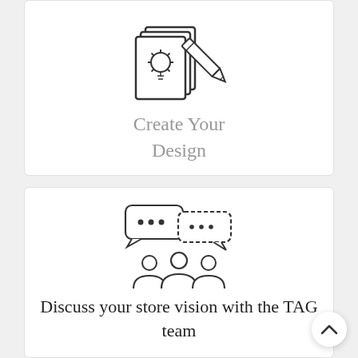[Figure (illustration): Icon of a design/idea: stacked papers with a lightbulb and a pencil, outline style]
Create Your Design
[Figure (illustration): Icon of a team discussion: two speech bubbles with dots above three stylized people, outline style]
Discuss your store vision with the TAG team